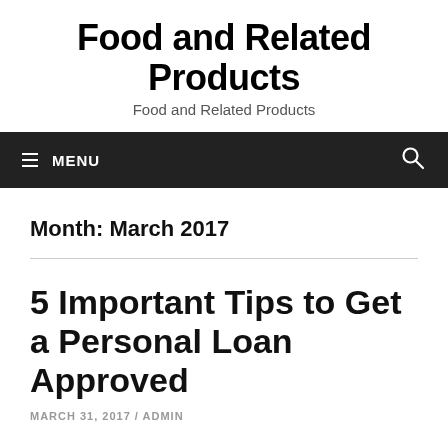Food and Related Products
Food and Related Products
≡ MENU
Month: March 2017
5 Important Tips to Get a Personal Loan Approved
MARCH 31, 2017 / ADMIN